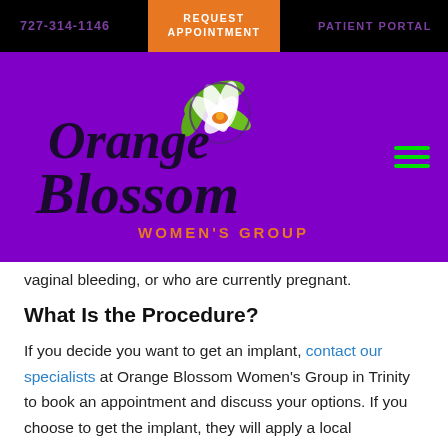727-314-1146 | REQUEST APPOINTMENT | PATIENT PORTAL
[Figure (logo): Orange Blossom Women's Group logo on purple background with orange blossom flower illustration]
vaginal bleeding, or who are currently pregnant.
What Is the Procedure?
If you decide you want to get an implant, contact our specialists at Orange Blossom Women's Group in Trinity to book an appointment and discuss your options. If you choose to get the implant, they will apply a local anesthetic to numb your arm and the rod will be is inserted under your skin in the non-dominant arm. A special plaster will